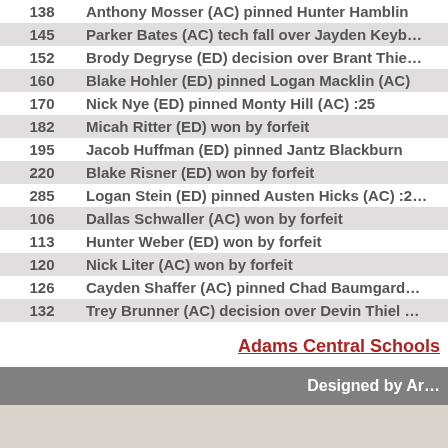| Wt | Result |
| --- | --- |
| 138 | Anthony Mosser (AC) pinned Hunter Hamblin |
| 145 | Parker Bates (AC) tech fall over Jayden Keyb... |
| 152 | Brody Degryse (ED) decision over Brant Thie... |
| 160 | Blake Hohler (ED) pinned Logan Macklin (AC) |
| 170 | Nick Nye (ED) pinned Monty Hill (AC) :25 |
| 182 | Micah Ritter (ED) won by forfeit |
| 195 | Jacob Huffman (ED) pinned Jantz Blackburn |
| 220 | Blake Risner (ED) won by forfeit |
| 285 | Logan Stein (ED) pinned Austen Hicks (AC) :2... |
| 106 | Dallas Schwaller (AC) won by forfeit |
| 113 | Hunter Weber (ED) won by forfeit |
| 120 | Nick Liter (AC) won by forfeit |
| 126 | Cayden Shaffer (AC) pinned Chad Baumgard... |
| 132 | Trey Brunner (AC) decision over Devin Thiel ... |
Adams Central Schools
Designed by Ar...